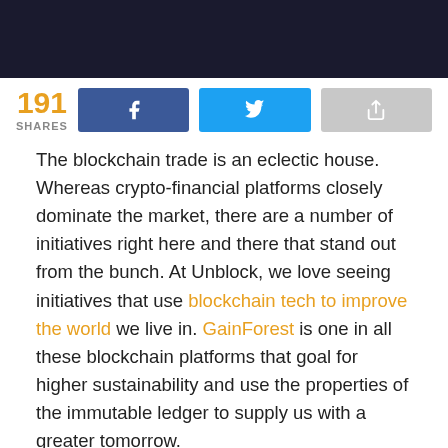[Figure (photo): Dark banner image at top of page]
191 SHARES [Facebook share button] [Twitter share button] [Share button]
The blockchain trade is an eclectic house. Whereas crypto-financial platforms closely dominate the market, there are a number of initiatives right here and there that stand out from the bunch. At Unblock, we love seeing initiatives that use blockchain tech to improve the world we live in. GainForest is one in all these blockchain platforms that goal for higher sustainability and use the properties of the immutable ledger to supply us with a greater tomorrow.
On this GainForest assessment, we'll attempt to demystify among the progressive ideas of this up-and-